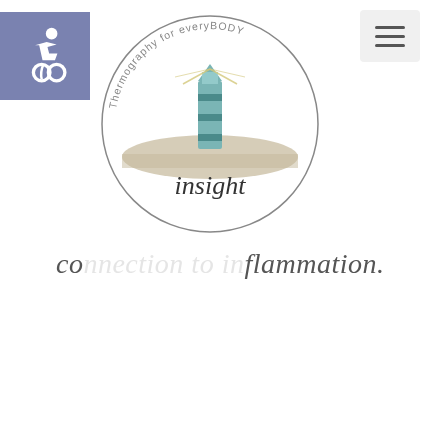[Figure (logo): Insight Thermography logo - circular badge with lighthouse illustration, text 'Thermography for everyBODY' around the circle, and 'insight' text in the center]
connection to inflammation.
[Figure (other): Wheelchair accessibility icon - white person-in-wheelchair symbol on blue/purple rectangle background]
[Figure (other): Hamburger menu button - three horizontal lines on light grey square]